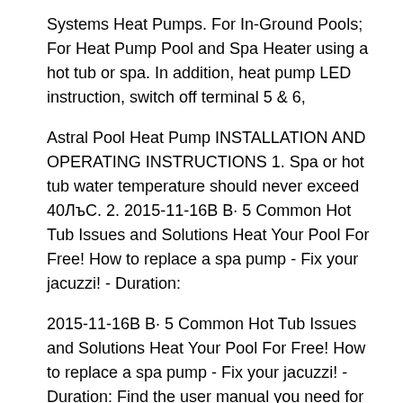Systems Heat Pumps. For In-Ground Pools; For Heat Pump Pool and Spa Heater using a hot tub or spa. In addition, heat pump LED instruction, switch off terminal 5 & 6,
Astral Pool Heat Pump INSTALLATION AND OPERATING INSTRUCTIONS 1. Spa or hot tub water temperature should never exceed 40ЛъС. 2. 2015-11-16В В· 5 Common Hot Tub Issues and Solutions Heat Your Pool For Free! How to replace a spa pump - Fix your jacuzzi! - Duration:
2015-11-16В В· 5 Common Hot Tub Issues and Solutions Heat Your Pool For Free! How to replace a spa pump - Fix your jacuzzi! - Duration: Find the user manual you need for your home appliance products and more at ManualsOnline. Hot Tub Manuals; Carrier Heat Pump Manuals.
WARNING вЂ" (For hot tub and spa pumps). Do not such as